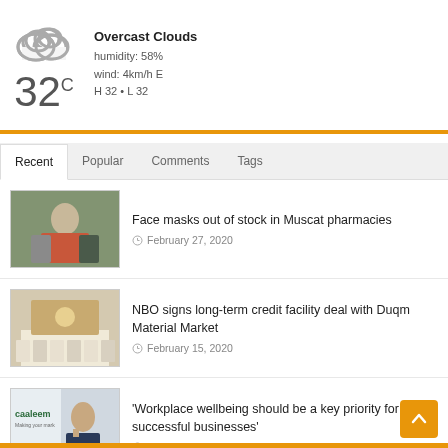MUSCAT
Overcast Clouds
humidity: 58%
wind: 4km/h E
H 32 • L 32
32C
Recent | Popular | Comments | Tags
Face masks out of stock in Muscat pharmacies
February 27, 2020
NBO signs long-term credit facility deal with Duqm Material Market
February 15, 2020
'Workplace wellbeing should be a key priority for successful businesses'
February 15, 2020